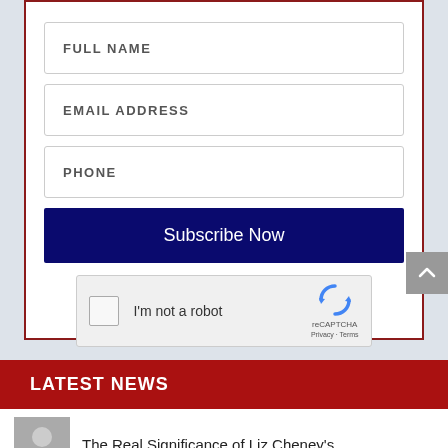FULL NAME
EMAIL ADDRESS
PHONE
Subscribe Now
[Figure (other): reCAPTCHA widget with checkbox labeled I'm not a robot, reCAPTCHA logo, Privacy and Terms links]
LATEST NEWS
The Real Significance of Liz Cheney's